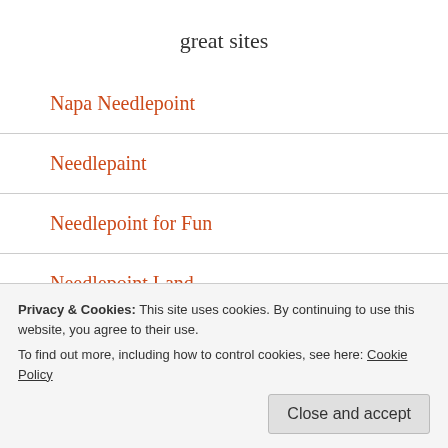great sites
Napa Needlepoint
Needlepaint
Needlepoint for Fun
Needlepoint Land
Needlepoint Now
Privacy & Cookies: This site uses cookies. By continuing to use this website, you agree to their use.
To find out more, including how to control cookies, see here: Cookie Policy
Wine Muse